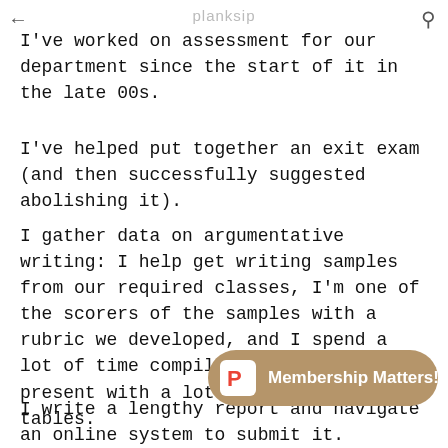planksip
I've worked on assessment for our department since the start of it in the late 00s.
I've helped put together an exit exam (and then successfully suggested abolishing it).
I gather data on argumentative writing: I help get writing samples from our required classes, I'm one of the scorers of the samples with a rubric we developed, and I spend a lot of time compiling the scores to present with a lot of nice-looking tables.
I write a lengthy report and navigate an online system to submit it.
[Figure (other): Membership Matters! badge/button with a P logo icon on a tan/brown rounded rectangle background]